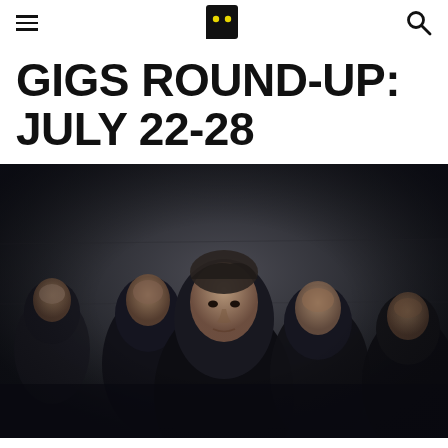≡  [logo]  Q
GIGS ROUND-UP: JULY 22-28
[Figure (photo): Black and white promotional photo of five male musicians in dark clothing posed against a grey wall, with the central figure in the foreground looking directly at the camera]